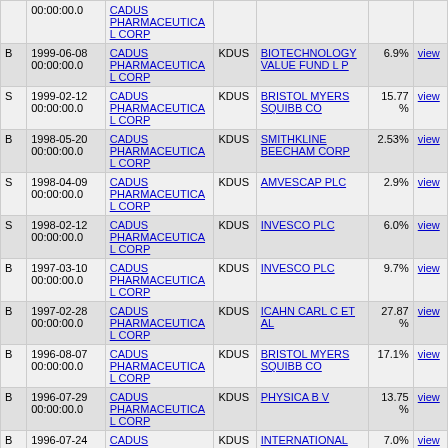| Type | Date | Corporation | Symbol | Institution | Pct |  |
| --- | --- | --- | --- | --- | --- | --- |
|  | 00:00:00.0 | CADUS PHARMACEUTICAL CORP |  |  |  |  |
| B | 1999-06-08 00:00:00.0 | CADUS PHARMACEUTICAL CORP | KDUS | BIOTECHNOLOGY VALUE FUND L P | 6.9% | view |
| S | 1999-02-12 00:00:00.0 | CADUS PHARMACEUTICAL CORP | KDUS | BRISTOL MYERS SQUIBB CO | 15.77% | view |
| B | 1998-05-20 00:00:00.0 | CADUS PHARMACEUTICAL CORP | KDUS | SMITHKLINE BEECHAM CORP | 2.53% | view |
| S | 1998-04-09 00:00:00.0 | CADUS PHARMACEUTICAL CORP | KDUS | AMVESCAP PLC | 2.9% | view |
| S | 1998-02-12 00:00:00.0 | CADUS PHARMACEUTICAL CORP | KDUS | INVESCO PLC | 6.0% | view |
| B | 1997-03-10 00:00:00.0 | CADUS PHARMACEUTICAL CORP | KDUS | INVESCO PLC | 9.7% | view |
| B | 1997-02-28 00:00:00.0 | CADUS PHARMACEUTICAL CORP | KDUS | ICAHN CARL C ET AL | 27.87% | view |
| B | 1996-08-07 00:00:00.0 | CADUS PHARMACEUTICAL CORP | KDUS | BRISTOL MYERS SQUIBB CO | 17.1% | view |
| B | 1996-07-29 00:00:00.0 | CADUS PHARMACEUTICAL CORP | KDUS | PHYSICA B V | 13.75% | view |
| B | 1996-07-24 00:00:00.0 | CADUS PHARMACEUTICAL CORP | KDUS | INTERNATIONAL BIOTECHNOLOGY TRUST PLC | 7.0% | view |
* Institutions do not report transaction buy/sell types directly. To help members better understand the transactions, this column is filled by InsiderCow's best-effort interpretations.